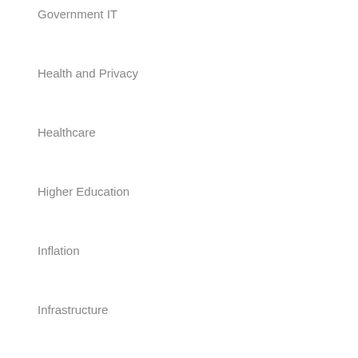Government IT
Health and Privacy
Healthcare
Higher Education
Inflation
Infrastructure
Labor
Local Government
Migration
Nonprofit Management
Politics
Ports
Premium
Privacy
Procurement